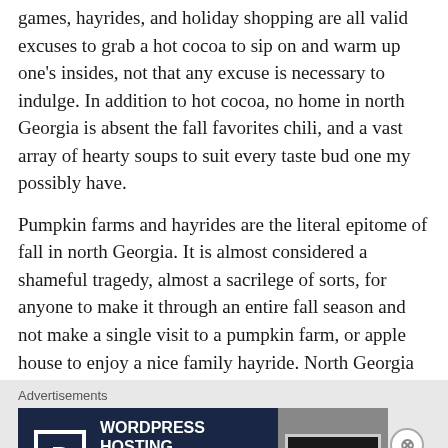games, hayrides, and holiday shopping are all valid excuses to grab a hot cocoa to sip on and warm up one's insides, not that any excuse is necessary to indulge.  In addition to hot cocoa, no home in north Georgia is absent the fall favorites chili, and a vast array of hearty soups to suit every taste bud one my possibly have.
Pumpkin farms and hayrides are the literal epitome of fall in north Georgia.  It is almost considered a shameful tragedy, almost a sacrilege of sorts, for anyone to make it through an entire fall season and not make a single visit to a pumpkin farm, or apple house to enjoy a nice family hayride. North Georgia fall is pumpkin farms and hayrides, and you will be blessed with an abundance of them on any given weekend day. In addition to all the local farms, local
Advertisements
[Figure (infographic): Advertisement banner for WordPress Hosting with dark navy background, white P icon in a square border, text 'WORDPRESS HOSTING THAT MEANS BUSINESS.' in white bold font, and a photo of an 'OPEN' sign on the right side.]